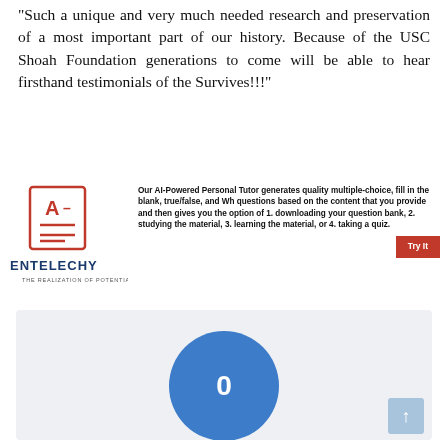“Such a unique and very much needed research and preservation of a most important part of our history. Because of the USC Shoah Foundation generations to come will be able to hear firsthand testimonials of the Survives!!!”
[Figure (logo): Entelechy logo with red graded paper icon and text ENTELECHY THE REALIZATION OF POTENTIAL, alongside an AI tutor advertisement with a Try It button]
[Figure (infographic): Light gray panel with a large blue circle containing the number 0, and a light blue arrow-up button in the bottom right corner]